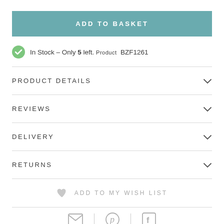ADD TO BASKET
In Stock – Only 5 left. Product BZF1261
PRODUCT DETAILS
REVIEWS
DELIVERY
RETURNS
ADD TO MY WISH LIST
[Figure (other): Email, Pinterest, and Facebook social sharing icons]